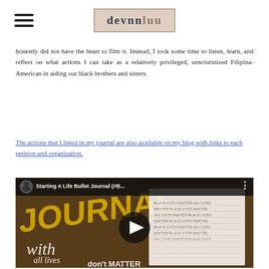devnnluu — navigation bar with hamburger menu and logo
honestly did not have the heart to film it. Instead, I took some time to listen, learn, and reflect on what actions I can take as a relatively privileged, unscrutinized Filipina-American in aiding our black brothers and sisters.
The actions that I listed in my journal are also available on my blog with links to each petition and organization.
[Figure (screenshot): YouTube video thumbnail for 'Starting A Life Bullet Journal (#B...' showing a journal with handwritten text including 'all lives don't matter' with bold yellow 'JOURNAL with' text overlay and a circular play button]